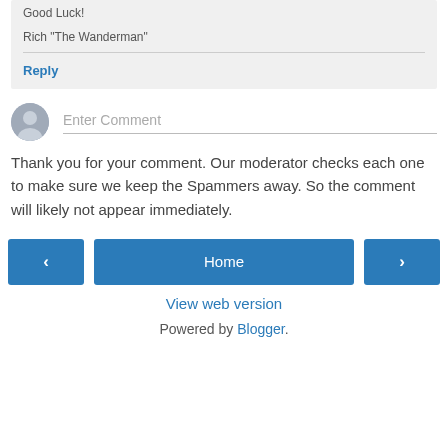Good Luck!
Rich "The Wanderman"
Reply
[Figure (other): User avatar placeholder — grey circular silhouette icon]
Enter Comment
Thank you for your comment. Our moderator checks each one to make sure we keep the Spammers away. So the comment will likely not appear immediately.
‹
Home
›
View web version
Powered by Blogger.